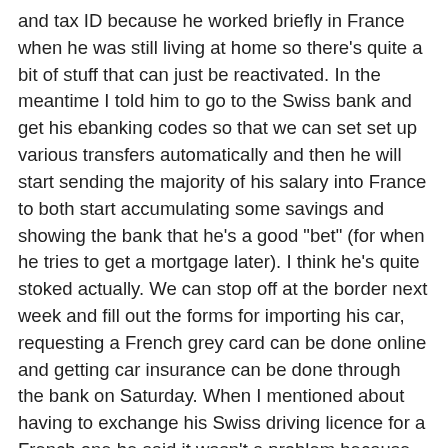and tax ID because he worked briefly in France when he was still living at home so there's quite a bit of stuff that can just be reactivated. In the meantime I told him to go to the Swiss bank and get his ebanking codes so that we can set set up various transfers automatically and then he will start sending the majority of his salary into France to both start accumulating some savings and showing the bank that he's a good "bet" (for when he tries to get a mortgage later). I think he's quite stoked actually. We can stop off at the border next week and fill out the forms for importing his car, requesting a French grey card can be done online and getting car insurance can be done through the bank on Saturday. When I mentioned about having to exchange his Swiss driving licence for a French one he said it wasn't a problem because when he moved into Switzerland the Swiss just gave him a Swiss licence and didn't take his French one off him, so that's one less thing to sort out!
It'll be a pain in the butt for a while I suppose but once we started talking "numbers" I think he was pretty excited. It's fairly easy to do loan calculations online and for around the same amount as he was contributing to his Swiss rent he